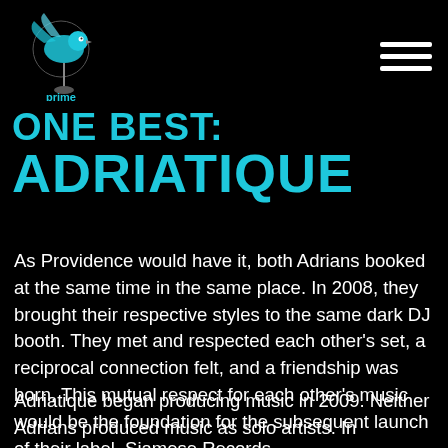prime logo and hamburger menu
ONE BEST: ADRIATIQUE
As Providence would have it, both Adrians booked at the same time in the same place. In 2008, they brought their respective styles to the same dark DJ booth. They met and respected each other’s set, a reciprocal connection felt, and a friendship was born. This mutual respect for each other’s music would be the foundation for the subsequent launch of their label, Siamese Records.
Adriatique began producing music in 2009. Neither Adrians produced music as solo artists. In describing their sound, Shala is at somewhat of a loss for words. There isn’t a plan to deliver house or